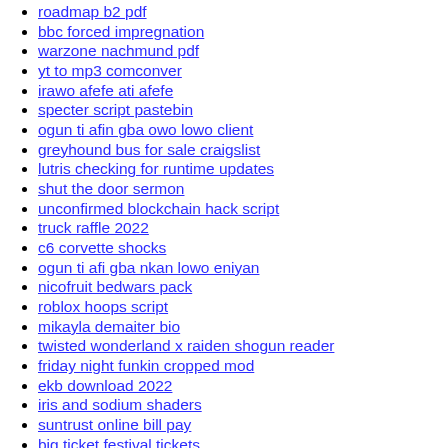roadmap b2 pdf
bbc forced impregnation
warzone nachmund pdf
yt to mp3 comconver
irawo afefe ati afefe
specter script pastebin
ogun ti afin gba owo lowo client
greyhound bus for sale craigslist
lutris checking for runtime updates
shut the door sermon
unconfirmed blockchain hack script
truck raffle 2022
c6 corvette shocks
ogun ti afi gba nkan lowo eniyan
nicofruit bedwars pack
roblox hoops script
mikayla demaiter bio
twisted wonderland x raiden shogun reader
friday night funkin cropped mod
ekb download 2022
iris and sodium shaders
suntrust online bill pay
big ticket festival tickets
webtoon promo codes for coins 2022
emload generator